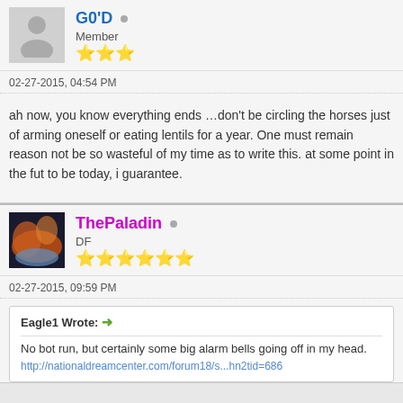G0'D • Member ★★★
02-27-2015, 04:54 PM
ah now, you know everything ends …don't be circling the horses just of arming oneself or eating lentils for a year. One must remain reason not be so wasteful of my time as to write this. at some point in the fut to be today, i guarantee.
ThePaladin • DF ★★★★★★
02-27-2015, 09:59 PM
Eagle1 Wrote: → No bot run, but certainly some big alarm bells going off in my head. http://nationaldreamcenter.com/forum18/s...hn2tid=686